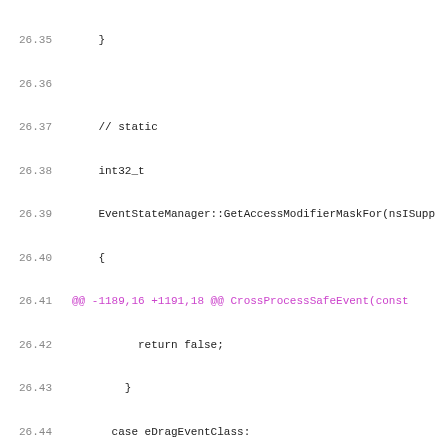[Figure (screenshot): Code diff snippet showing C++ source code lines 26.35–26.66, with line numbers on the left, green '+' markers for added lines, magenta diff hunk headers, and standard code in dark/black. Content includes EventStateManager methods with switch/case blocks for drag events and cross-process event handling.]